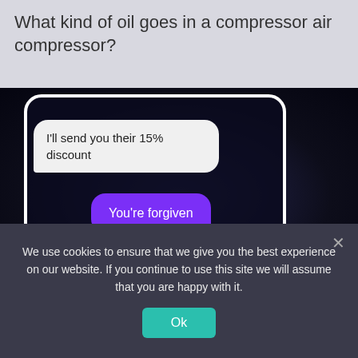What kind of oil goes in a compressor air compressor?
[Figure (screenshot): Screenshot of a phone chat conversation showing a dark starry background. A white speech bubble on the left reads 'I'll send you their 15% discount'. A purple speech bubble on the right reads 'You're forgiven'. Below is a purple 'ORDER NOW' button inside the phone frame.]
We use cookies to ensure that we give you the best experience on our website. If you continue to use this site we will assume that you are happy with it.